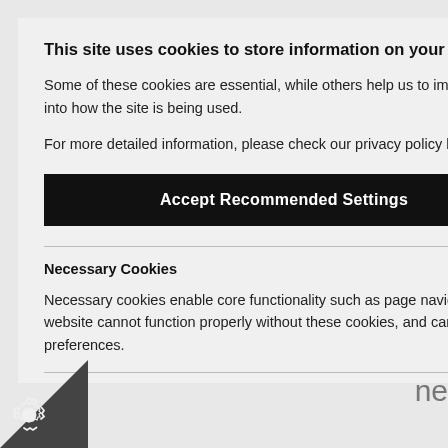This site uses cookies to store information on your computer.
Some of these cookies are essential, while others help us to improve your experience by providing insights into how the site is being used.
For more detailed information, please check our privacy policy by clicking here [external link icon]
Accept Recommended Settings
Necessary Cookies
Necessary cookies enable core functionality such as page navigation and access to secure areas. The website cannot function properly without these cookies, and can only be disabled by changing your browser preferences.